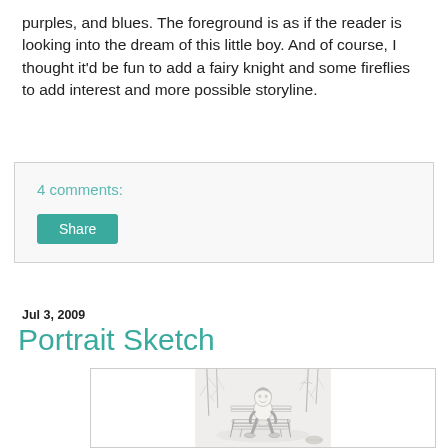purples, and blues. The foreground is as if the reader is looking into the dream of this little boy. And of course, I thought it'd be fun to add a fairy knight and some fireflies to add interest and more possible storyline.
4 comments:
Share
Jul 3, 2009
Portrait Sketch
[Figure (illustration): Pencil sketch illustration of a young boy sitting on a bench outdoors, smiling, with trees in the background.]